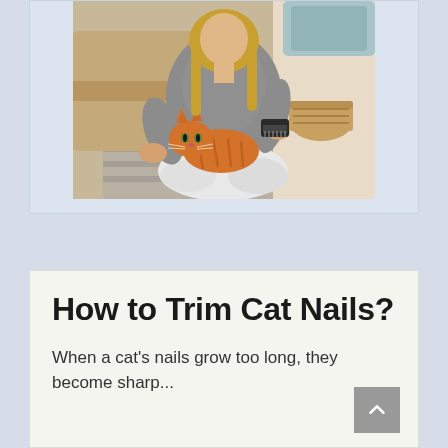[Figure (photo): A woman in a grey sweater and white pants sitting on the floor holding an orange tabby cat on her lap, with a dark grooming brush. Basket and striped rug visible in background.]
How to Trim Cat Nails?
When a cat's nails grow too long, they become sharp...